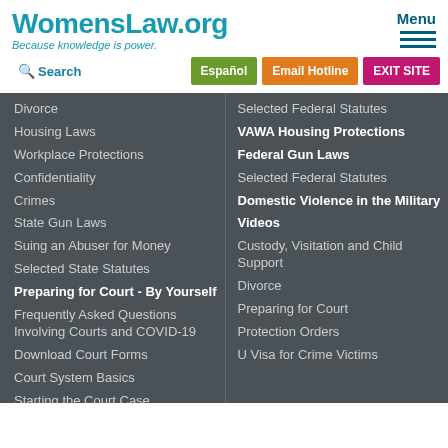WomensLaw.org — Because knowledge is power.
Search
Español
Email Hotline
EXIT SITE
Divorce
Housing Laws
Workplace Protections
Confidentiality
Crimes
State Gun Laws
Suing an Abuser for Money
Selected State Statutes
Preparing for Court - By Yourself
Frequently Asked Questions Involving Courts and COVID-19
Download Court Forms
Court System Basics
Starting the Court Case
Before the Trial
At the Hearing
Selected Federal Statutes
VAWA Housing Protections
Federal Gun Laws
Selected Federal Statutes
Domestic Violence in the Military
Videos
Custody, Visitation and Child Support
Divorce
Preparing for Court
Protection Orders
U Visa for Crime Victims